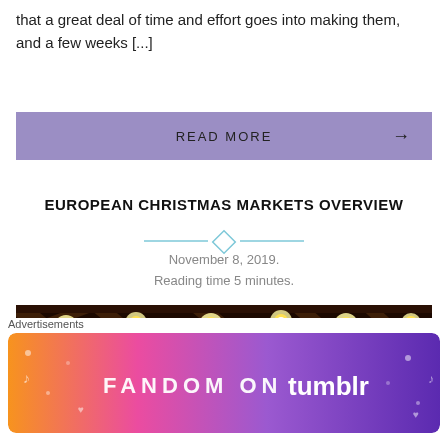that a great deal of time and effort goes into making them, and a few weeks [...]
READ MORE →
EUROPEAN CHRISTMAS MARKETS OVERVIEW
November 8, 2019.
Reading time 5 minutes.
[Figure (photo): Photo of Christmas market lights hanging from a wooden ceiling structure, warm glowing bulbs against dark background]
Advertisements
[Figure (photo): Tumblr Fandom advertisement banner with colorful gradient background showing 'FANDOM ON tumblr' text]